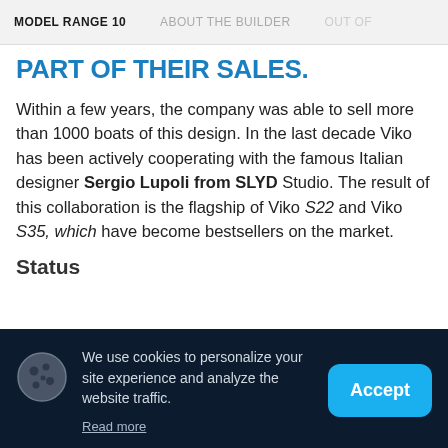MODEL RANGE 10   ABOUT THE BUILDER   OUT OF
PART OF THEIR SALES.
Within a few years, the company was able to sell more than 1000 boats of this design. In the last decade Viko has been actively cooperating with the famous Italian designer Sergio Lupoli from SLYD Studio. The result of this collaboration is the flagship of Viko S22 and Viko S35, which have become bestsellers on the market.
Status
We use cookies to personalize your site experience and analyze the website traffic.
Read more